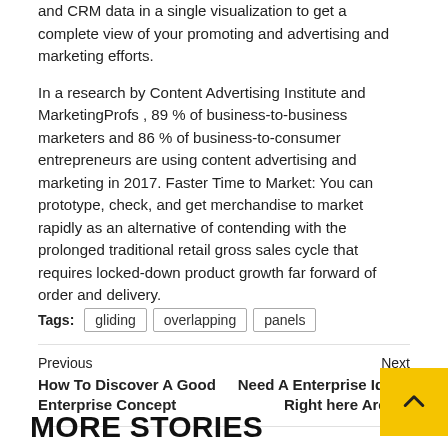and CRM data in a single visualization to get a complete view of your promoting and advertising and marketing efforts.
In a research by Content Advertising Institute and MarketingProfs , 89 % of business-to-business marketers and 86 % of business-to-consumer entrepreneurs are using content advertising and marketing in 2017. Faster Time to Market: You can prototype, check, and get merchandise to market rapidly as an alternative of contending with the prolonged traditional retail gross sales cycle that requires locked-down product growth far forward of order and delivery.
Tags: gliding overlapping panels
Previous
How To Discover A Good Enterprise Concept
Next
Need A Enterprise Idea? Right here Are fift
MORE STORIES